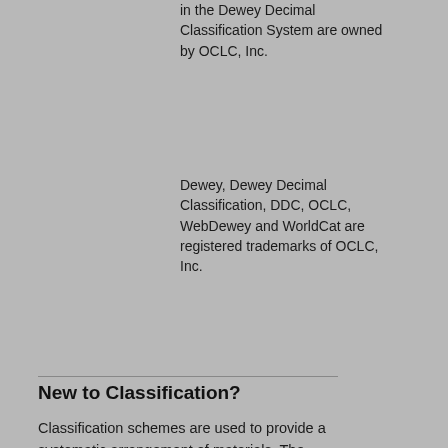in the Dewey Decimal Classification System are owned by OCLC, Inc.
Dewey, Dewey Decimal Classification, DDC, OCLC, WebDewey and WorldCat are registered trademarks of OCLC, Inc.
New to Classification?
Classification schemes are used to provide a systematic arrangement of materials. The classification numbers applied to books and other materials are used to arrange items on shelves and to support browsing, filtering and retrieval of bibliographic information in online systems. The Classify prototype is designed to help